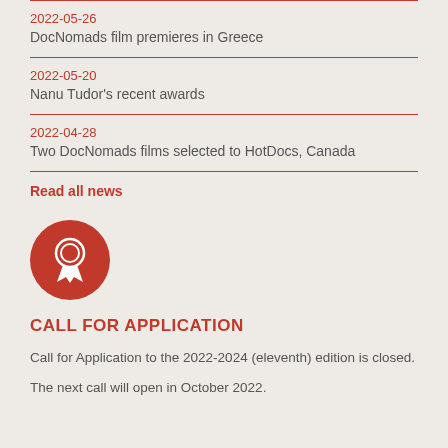2022-05-26
DocNomads film premieres in Greece
2022-05-20
Nanu Tudor's recent awards
2022-04-28
Two DocNomads films selected to HotDocs, Canada
Read all news
[Figure (illustration): Red circle with a white award ribbon/medal icon in the center]
CALL FOR APPLICATION
Call for Application to the 2022-2024 (eleventh) edition is closed.
The next call will open in October 2022.